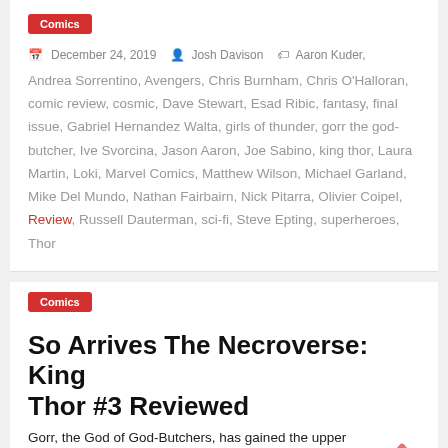Comics
December 24, 2019  Josh Davison  Aaron Kuder, Andrea Sorrentino, Avengers, Chris Burnham, Chris O'Halloran, comic review, cosmic, Dave Stewart, Esad Ribic, fantasy, final issue, Gabriel Hernandez Walta, girls of thunder, gorr the god-butcher, Ive Svorcina, Jason Aaron, Joe Sabino, king thor, Laura Martin, Loki, Marvel Comics, Matthew Wilson, Michael Garland, Mike Del Mundo, Nathan Fairbairn, Nick Pitarra, Olivier Coipel, Review, Russell Dauterman, sci-fi, Steve Epting, superheroes, Thor
Comics
So Arrives The Necroverse: King Thor #3 Reviewed
Gorr, the God of God-Butchers, has gained the upper hand...